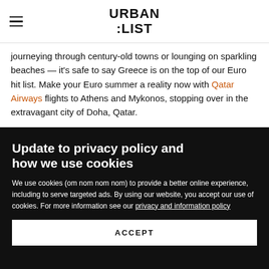URBAN :LIST
journeying through century-old towns or lounging on sparkling beaches — it's safe to say Greece is on the top of our Euro hit list. Make your Euro summer a reality now with Qatar Airways flights to Athens and Mykonos, stopping over in the extravagant city of Doha, Qatar.
Update to privacy policy and how we use cookies
We use cookies (om nom nom nom) to provide a better online experience, including to serve targeted ads. By using our website, you accept our use of cookies. For more information see our privacy and information policy
ACCEPT